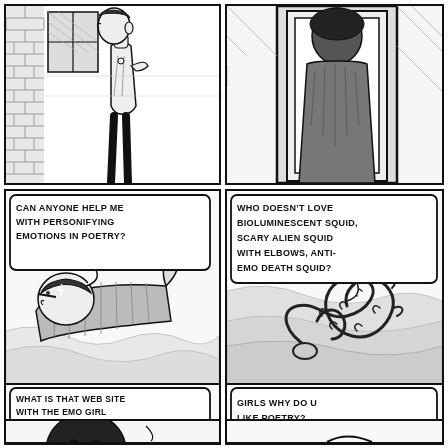[Figure (illustration): Top-left comic panel: a person standing, viewed from side/back, near a brick wall and window, hand raised thoughtfully. Black and white ink drawing.]
[Figure (illustration): Top-right comic panel: a figure (silhouette, dark hair) standing in or near a doorway with geometric framing lines. Black and white ink drawing.]
[Figure (illustration): Middle-left comic panel: A person with a cap lying down or reclining on bedding/fabric. Speech bubble reads: CAN ANYONE HELP ME WITH PERSONIFYING EMOTIONS IN POETRY?]
[Figure (illustration): Middle-right comic panel: A snake or squid creature coiled on fabric/bedding. Speech bubble reads: WHO DOESN'T LOVE BIOLUMINESCENT SQUID, SCARY ALIEN SQUID WITH ELBOWS, ANTI-EMO DEATH SQUID?]
[Figure (illustration): Bottom-left comic panel: A dark round head/figure partially visible. Speech bubble reads: WHAT IS THAT WEB SITE WITH THE EMO GIRL AND SQUIRREL FLASH VIDEOS?]
[Figure (illustration): Bottom-right comic panel: Mostly empty with a curved line suggesting a figure. Speech bubble reads: GIRLS WHY DO U LIKE POETRY?]